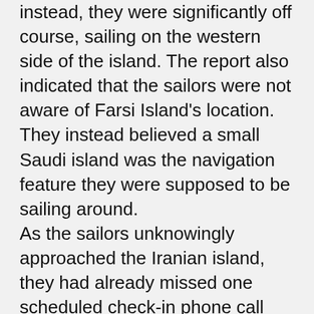instead, they were significantly off course, sailing on the western side of the island. The report also indicated that the sailors were not aware of Farsi Island's location. They instead believed a small Saudi island was the navigation feature they were supposed to be sailing around. As the sailors unknowingly approached the Iranian island, they had already missed one scheduled check-in phone call with their command center, and the command center for some reason did not notice that the tracking equipment on board had them headed for Iranian waters. Once inside Iranian waters, the boat with the navigation problem broke down again and was then fixed. But the sailors were quickly surrounded by two